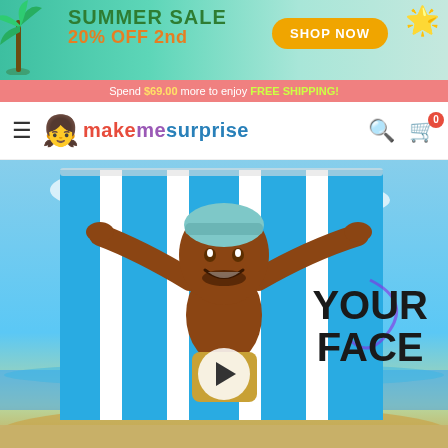[Figure (screenshot): Summer Sale banner with teal gradient background, green palm tree on left, orange starfish top right. Text: SUMMER SALE 20% OFF 2nd, SHOP NOW button in orange pill shape.]
Spend $69.00 more to enjoy FREE SHIPPING!
[Figure (logo): MakeMeSurprise logo with cartoon girl emoji and colorful text]
[Figure (photo): Hero image showing a cartoon man holding a blue and white striped beach towel with his custom face on it, beach background, text YOUR FACE overlaid, play button in center]